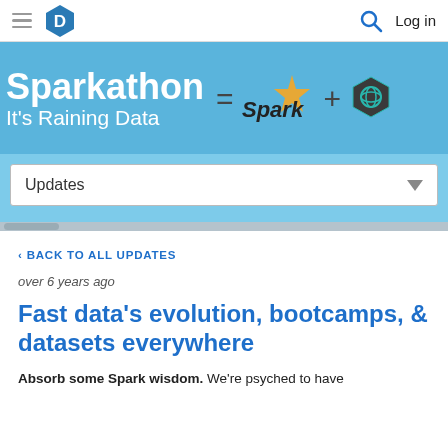D [logo] | Search | Log in
[Figure (screenshot): Sparkathon banner with text 'Sparkathon It's Raining Data = Spark + [logo]' on light blue background]
Updates [dropdown]
< BACK TO ALL UPDATES
over 6 years ago
Fast data's evolution, bootcamps, & datasets everywhere
Absorb some Spark wisdom. We're psyched to have